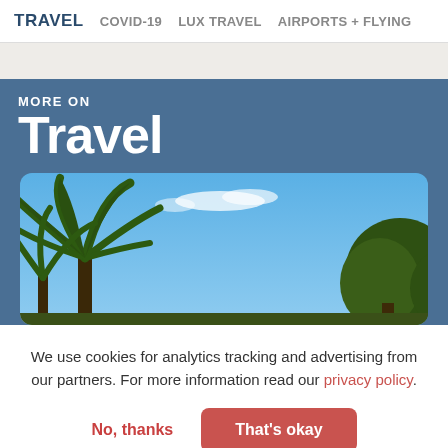TRAVEL  COVID-19  LUX TRAVEL  AIRPORTS + FLYING
MORE ON
Travel
[Figure (photo): Tropical scene with palm trees and blue sky with white clouds]
We use cookies for analytics tracking and advertising from our partners. For more information read our privacy policy.
No, thanks   That's okay